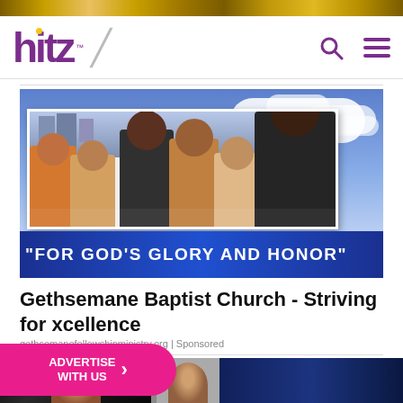[Figure (screenshot): Top decorative banner strip with golden/brown pattern]
hitz
[Figure (photo): Gethsemane Baptist Church advertisement image showing a group of diverse smiling people against a blue sky background with white clouds, with a dark blue banner reading "FOR GOD'S GLORY AND HONOR"]
Gethsemane Baptist Church - Striving for xcellence
gethsemanefellowshipministry.org | Sponsored
[Figure (photo): Bottom strip showing partial photos of people]